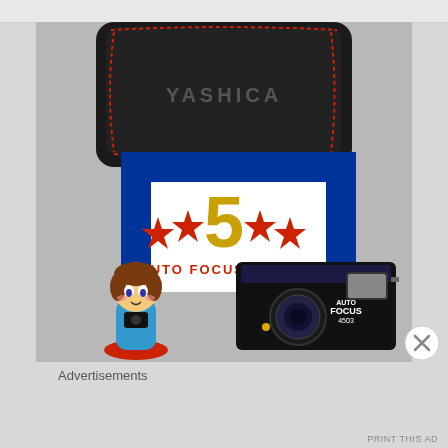[Figure (photo): Photo of a Yashica 5 Auto Focus Motor camera kit including a black leather carrying case with red stitching and 'YASHICA' embossed, the original white and blue product box labeled 'YASHICA 5 AUTO FOCUS MOTOR' with red stars and a large gold number 5, a black compact camera (Yashica Auto Focus 35mm), and a small figurine toy of a cartoon character holding a camera.]
Advertisements
PRINT THIS AD